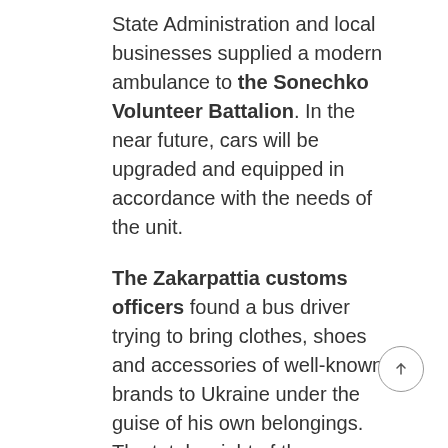State Administration and local businesses supplied a modern ambulance to the Sonechko Volunteer Battalion. In the near future, cars will be upgraded and equipped in accordance with the needs of the unit.
The Zakarpattia customs officers found a bus driver trying to bring clothes, shoes and accessories of well-known brands to Ukraine under the guise of his own belongings. The total weight of the contraband is 800 kg worth half a million hryvnias. A report has been made against the carrier. The undeclared goods have been sent to the customs warehouse. The court will rule out the decision in this case.
President Volodymyr Zelenskyy awarded the title of Hero of Ukraine and the Order of the Golden Star to the Zakarpattia soldier colonel Vadym Sukharovsky